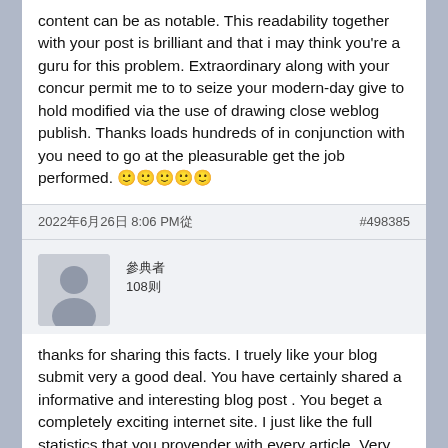content can be as notable. This readability together with your post is brilliant and that i may think you're a guru for this problem. Extraordinary along with your concur permit me to to seize your modern-day give to hold modified via the use of drawing close weblog publish. Thanks loads hundreds of in conjunction with you need to go at the pleasurable get the job performed. 🙂🙂🙂🙂🙂
2022年6月26日 8:06 PM於    #498385
[Figure (illustration): Default user avatar - gray silhouette of a person on a light gray background]
參與者
108則
thanks for sharing this facts. I truely like your blog submit very a good deal. You have certainly shared a informative and interesting blog post . You beget a completely exciting internet site. I just like the full statistics that you provender with every article. Very quality article, i loved studying your put up, very satisfactory percentage, i need to twit this to